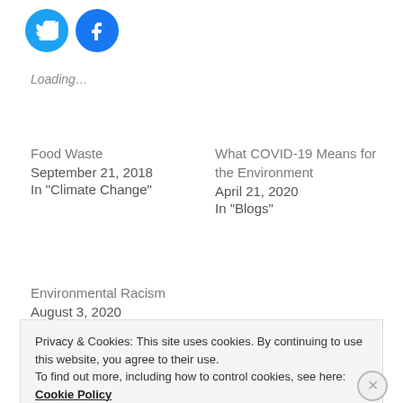[Figure (illustration): Twitter and Facebook social share icons as circular blue buttons]
Loading...
Food Waste
September 21, 2018
In "Climate Change"
What COVID-19 Means for the Environment
April 21, 2020
In "Blogs"
Environmental Racism
August 3, 2020
Privacy & Cookies: This site uses cookies. By continuing to use this website, you agree to their use.
To find out more, including how to control cookies, see here: Cookie Policy
Close and accept